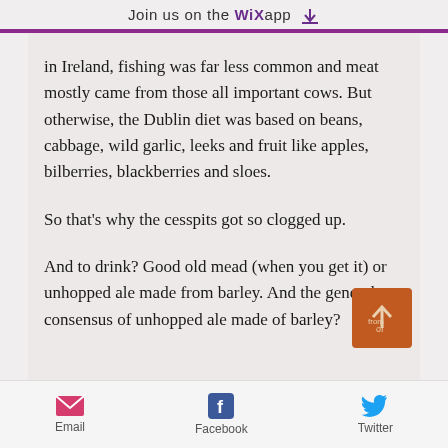Join us on the WiX app ↓
in Ireland, fishing was far less common and meat mostly came from those all important cows. But otherwise, the Dublin diet was based on beans, cabbage, wild garlic, leeks and fruit like apples, bilberries, blackberries and sloes.
So that's why the cesspits got so clogged up.
And to drink? Good old mead (when you get it) or unhopped ale made from barley. And the general consensus of unhopped ale made of barley?
[Figure (other): Scroll-up button with orange background and upward arrow]
Email  Facebook  Twitter